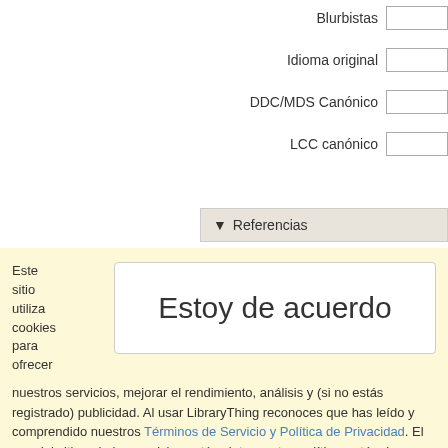| Blurbistas |  |
| Idioma original |  |
| DDC/MDS Canónico |  |
| LCC canónico |  |
▼ Referencias
Este sitio utiliza cookies para ofrecer
Estoy de acuerdo
nuestros servicios, mejorar el rendimiento, análisis y (si no estás registrado) publicidad. Al usar LibraryThing reconoces que has leído y comprendido nuestros Términos de Servicio y Política de Privacidad. El uso del sitio y de los servicios está sujeto a estas políticas y términos.